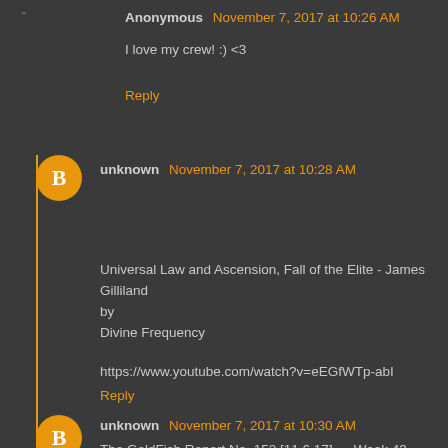Anonymous November 7, 2017 at 10:26 AM
I love my crew! :) <3
Reply
unknown November 7, 2017 at 10:28 AM
Universal Law and Ascension, Fall of the Elite - James Gilliland
by
Divine Frequency

https://www.youtube.com/watch?v=eEGfWTp-abI
Reply
unknown November 7, 2017 at 10:30 AM
The GoldFish Report No. 152 [11.6.17] — Week 43 POTUS...